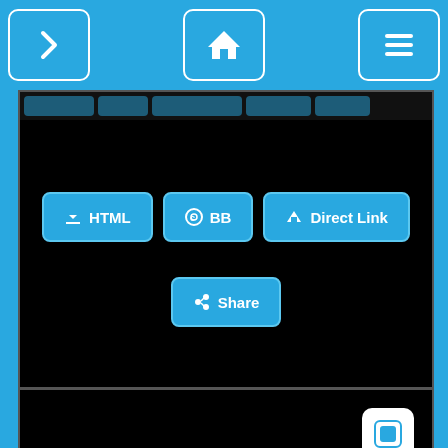[Figure (screenshot): Mobile app navigation bar with three icon buttons: forward arrow, home icon, and hamburger menu, on a bright blue background]
[Figure (screenshot): Black panel with tab row and three action buttons: HTML (with download icon), BB (with copyright icon), Direct Link (with road/link icon), and a Share button below]
[Figure (screenshot): Black panel with a small white icon button top-right, a Flirts back-arrow button, a 3D rendered red-haired woman in teal bikini, and teal text reading 'You Want it Come Get it']